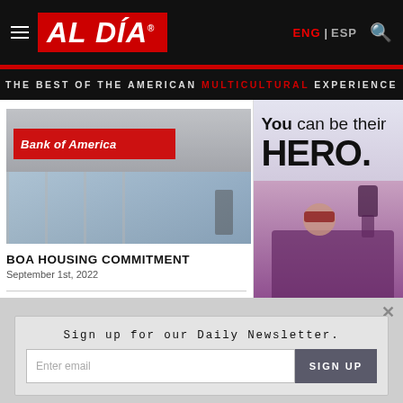AL DÍA — ENG | ESP
THE BEST OF THE AMERICAN MULTICULTURAL EXPERIENCE
[Figure (photo): Bank of America storefront exterior with red sign]
BOA HOUSING COMMITMENT
September 1st, 2022
[Figure (illustration): Advertisement: 'You can be their HERO.' with child in superhero costume raising fist]
Sign up for our Daily Newsletter.
Enter email
SIGN UP